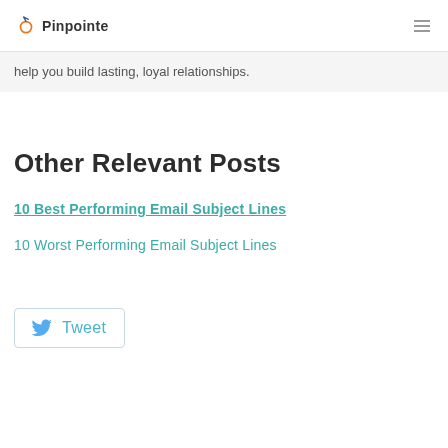Pinpointe
help you build lasting, loyal relationships.
Other Relevant Posts
10 Best Performing Email Subject Lines
10 Worst Performing Email Subject Lines
[Figure (other): Tweet button with Twitter bird icon]